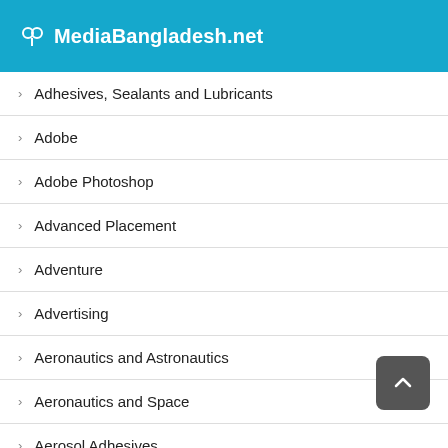MediaBangladesh.net
Adhesives, Sealants and Lubricants
Adobe
Adobe Photoshop
Advanced Placement
Adventure
Advertising
Aeronautics and Astronautics
Aeronautics and Space
Aerosol Adhesives
Africa